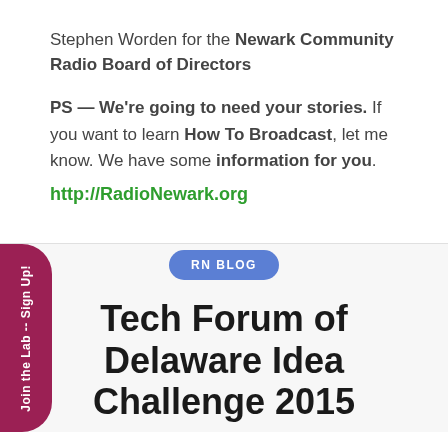Stephen Worden for the Newark Community Radio Board of Directors
PS — We're going to need your stories.  If you want to learn How To Broadcast, let me know.  We have some information for you.
http://RadioNewark.org
RN BLOG
Tech Forum of Delaware Idea Challenge 2015